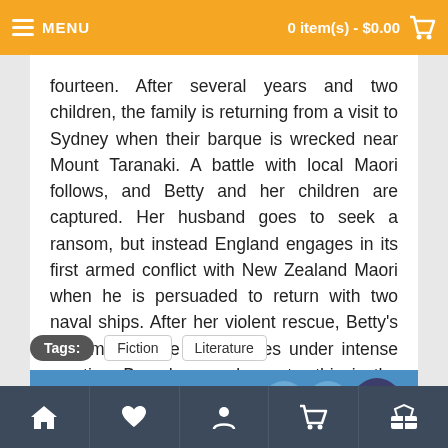MENU   0 item(s) - $0.00
fourteen. After several years and two children, the family is returning from a visit to Sydney when their barque is wrecked near Mount Taranaki. A battle with local Maori follows, and Betty and her children are captured. Her husband goes to seek a ransom, but instead England engages in its first armed conflict with New Zealand Maori when he is persuaded to return with two naval ships. After her violent rescue, Betty's life amongst the tribe comes under intense scrutiny. Based on real events, this is the compelling story of a marriage, of love and duty, and the quest for freedom in a pioneering age.
Tags:  Fiction  Literature
RELATED TITLES
Home  Favorites  Profile  Cart  Basket